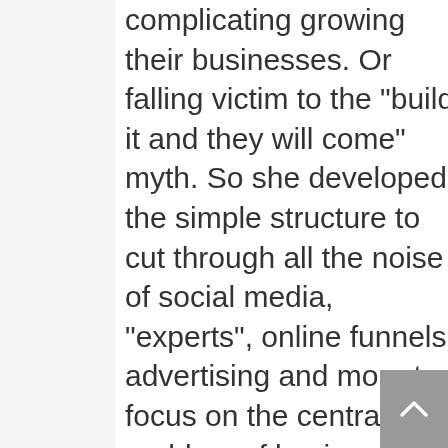complicating growing their businesses. Or falling victim to the "build it and they will come" myth. So she developed the simple structure to cut through all the noise of social media, "experts", online funnels, advertising and more to focus on the central problem of business owners: